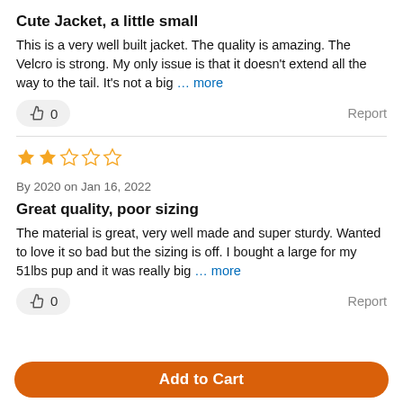Cute Jacket, a little small
This is a very well built jacket. The quality is amazing. The Velcro is strong. My only issue is that it doesn't extend all the way to the tail. It's not a big … more
👍 0    Report
⭐⭐☆☆☆  By 2020 on Jan 16, 2022
Great quality, poor sizing
The material is great, very well made and super sturdy. Wanted to love it so bad but the sizing is off. I bought a large for my 51lbs pup and it was really big … more
👍 0    Report
Add to Cart